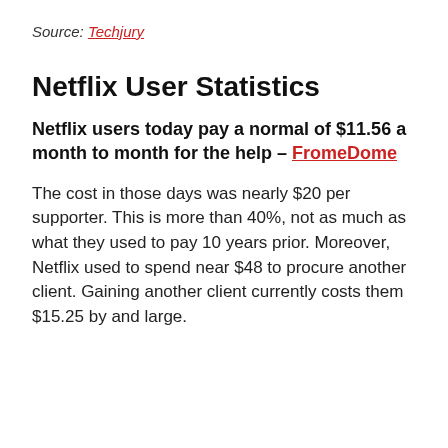Source: Techjury
Netflix User Statistics
Netflix users today pay a normal of $11.56 a month to month for the help – FromeDome
The cost in those days was nearly $20 per supporter. This is more than 40%, not as much as what they used to pay 10 years prior. Moreover, Netflix used to spend near $48 to procure another client. Gaining another client currently costs them $15.25 by and large.